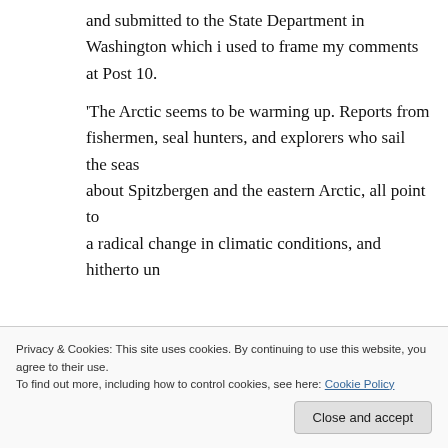and submitted to the State Department in Washington which i used to frame my comments at Post 10.

'The Arctic seems to be warming up. Reports from fishermen, seal hunters, and explorers who sail the seas about Spitzbergen and the eastern Arctic, all point to a radical change in climatic conditions, and hitherto un...
Privacy & Cookies: This site uses cookies. By continuing to use this website, you agree to their use.
To find out more, including how to control cookies, see here: Cookie Policy